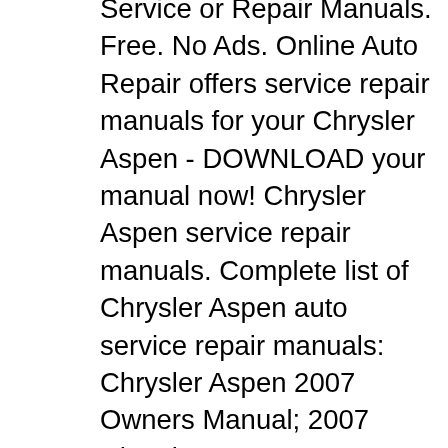Service or Repair Manuals. Free. No Ads. Online Auto Repair offers service repair manuals for your Chrysler Aspen - DOWNLOAD your manual now! Chrysler Aspen service repair manuals. Complete list of Chrysler Aspen auto service repair manuals: Chrysler Aspen 2007 Owners Manual; 2007 Chrysler Aspen Owners Manual ; Chrysler E-Fiche Service Parts Catalog 2006-2009 Download
Chrysler Aspen Workshop, Owners, Service or Repair Manuals. Free. No Ads. 2007 Chrysler Aspen Service Repair Manuals for factory, Chilton & Haynes service workshop repair manuals. 2007 Chrysler Aspen workshop repair manual